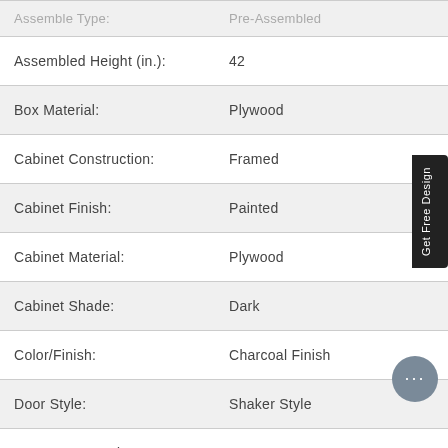| Attribute | Value |
| --- | --- |
| Assemble Type: | Pre-Assembled |
| Assembled Height (in.): | 42 |
| Box Material: | Plywood |
| Cabinet Construction: | Framed |
| Cabinet Finish: | Painted |
| Cabinet Material: | Plywood |
| Cabinet Shade: | Dark |
| Color/Finish: | Charcoal Finish |
| Door Style: | Shaker Style |
| KCMA Approved: | Yes |